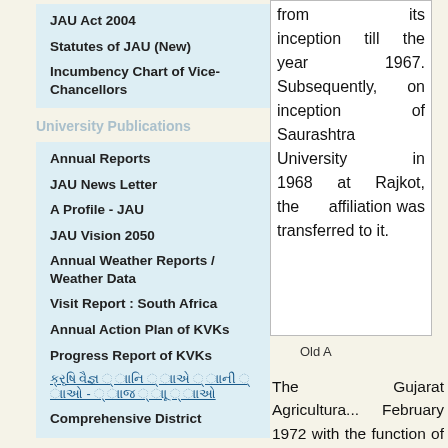JAU Act 2004
Statutes of JAU (New)
Incumbency Chart of Vice-Chancellors
University Publications
Annual Reports
JAU News Letter
A Profile - JAU
JAU Vision 2050
Annual Weather Reports / Weather Data
Visit Report : South Africa
Annual Action Plan of KVKs
Progress Report of KVKs
ક્રૃષિ વૈજ્ઞ ્ ાાનિ ્ ાાએ ્ ાાની ્ ાાઓ - ્ ાાજ ્ ાાૂ ્ ાાઓ
Comprehensive District
from its inception till the year 1967. Subsequently, on inception of Saurashtra University in 1968 at Rajkot, the affiliation was transferred to it.
Old A
The Gujarat Agricultural... February 1972 with the function of Agricultural E... Education. For strengthe... level, the Gujarat Agricu... four different Agricultural Agricultural University University is one of them 1st May, 2004.